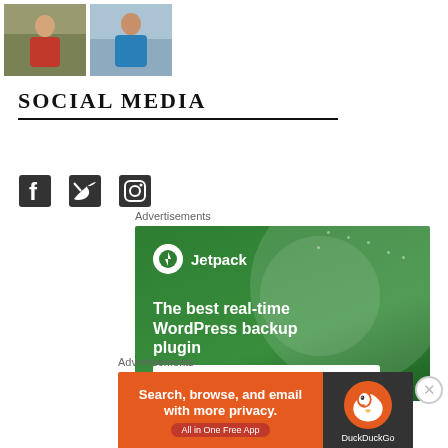[Figure (photo): Two thumbnail photos at top — first showing a person in red top outdoors, second showing a person in blue outdoors]
SOCIAL MEDIA
[Figure (illustration): Social media icons: Facebook, Twitter, Instagram]
Advertisements
[Figure (illustration): Jetpack advertisement: The best real-time WordPress backup plugin. Back up your site.]
Advertisements
[Figure (illustration): DuckDuckGo advertisement: Search, browse, and email with more privacy. All in One Free App.]